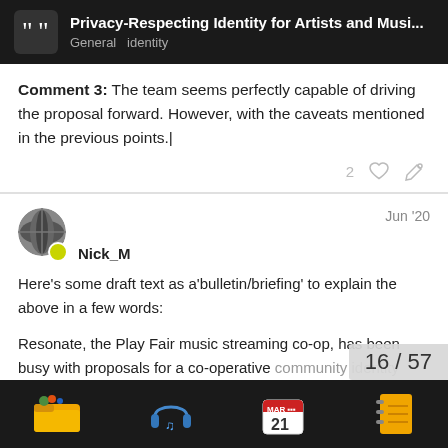Privacy-Respecting Identity for Artists and Musi... General identity
Comment 3: The team seems perfectly capable of driving the proposal forward. However, with the caveats mentioned in the previous points.|
Nick_M  Jun '20
Here's some draft text as a'bulletin/briefing' to explain the above in a few words:
Resonate, the Play Fair music streaming co-op, has been busy with proposals for a co-operative community identity system that brings some 'portability' of the 'islands' of co-op identity.
16 / 57